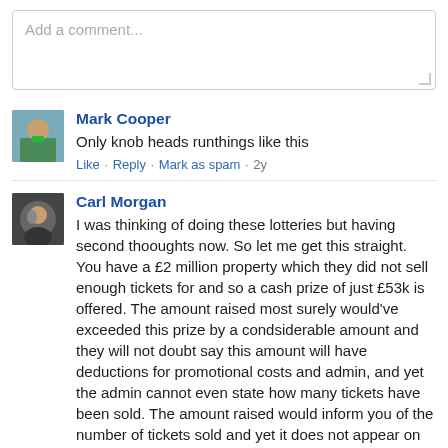Add a comment...
Mark Cooper
Only knob heads runthings like this
Like · Reply · Mark as spam · 2y
Carl Morgan
I was thinking of doing these lotteries but having second thooughts now. So let me get this straight. You have a £2 million property which they did not sell enough tickets for and so a cash prize of just £53k is offered. The amount raised most surely would've exceeded this prize by a condsiderable amount and they will not doubt say this amount will have deductions for promotional costs and admin, and yet the admin cannot even state how many tickets have been sold. The amount raised would inform you of the number of tickets sold and yet it does not appear on this website or the now defunct https://cadivus.co.uk. I don't know about the promotional costs but the admin costs should be not be decducted as the people carrying it out could not even tell